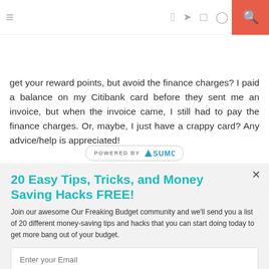≡  [social icons: f  twitter  instagram  pinterest  heart  rss]  [search]
get your reward points, but avoid the finance charges? I paid a balance on my Citibank card before they sent me an invoice, but when the invoice came, I still had to pay the finance charges. Or, maybe, I just have a crappy card? Any advice/help is appreciated!
[Figure (logo): POWERED BY SUMO badge/button]
20 Easy Tips, Tricks, and Money Saving Hacks FREE!
Join our awesome Our Freaking Budget community and we'll send you a list of 20 different money-saving tips and hacks that you can start doing today to get more bang out of your budget.
Enter your Email
Sign Me Up!